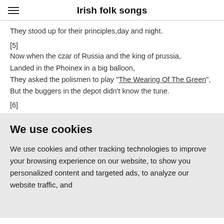Irish folk songs
They stood up for their principles,day and night.
[5]
Now when the czar of Russia and the king of prussia,
Landed in the Phoinex in a big balloon,
They asked the polismen to play "The Wearing Of The Green",
But the buggers in the depot didn't know the tune.
[6]
We use cookies
We use cookies and other tracking technologies to improve your browsing experience on our website, to show you personalized content and targeted ads, to analyze our website traffic, and